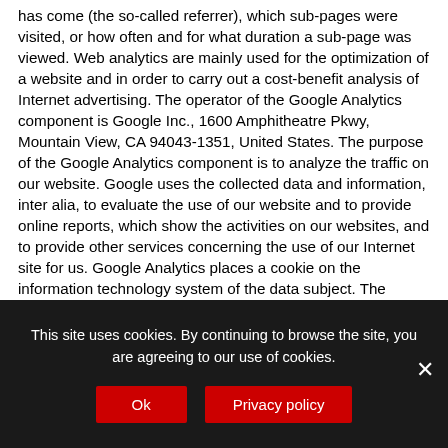has come (the so-called referrer), which sub-pages were visited, or how often and for what duration a sub-page was viewed. Web analytics are mainly used for the optimization of a website and in order to carry out a cost-benefit analysis of Internet advertising. The operator of the Google Analytics component is Google Inc., 1600 Amphitheatre Pkwy, Mountain View, CA 94043-1351, United States. The purpose of the Google Analytics component is to analyze the traffic on our website. Google uses the collected data and information, inter alia, to evaluate the use of our website and to provide online reports, which show the activities on our websites, and to provide other services concerning the use of our Internet site for us. Google Analytics places a cookie on the information technology system of the data subject. The definition of cookies is explained above. With the setting of the cookie, Google is enabled to analyze the use of our website. With each call-up to one of the individual pages of this Internet site, which is operated by the controller and into which a Google Analytics component was integrated, the Internet browser on the
This site uses cookies. By continuing to browse the site, you are agreeing to our use of cookies.